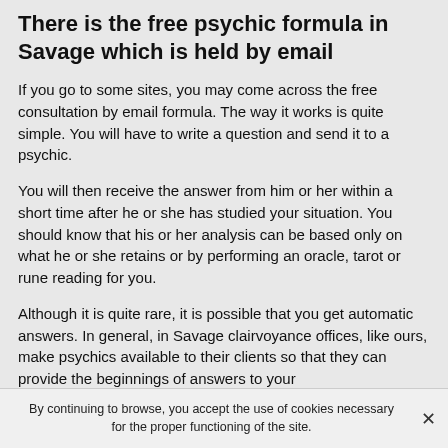There is the free psychic formula in Savage which is held by email
If you go to some sites, you may come across the free consultation by email formula. The way it works is quite simple. You will have to write a question and send it to a psychic.
You will then receive the answer from him or her within a short time after he or she has studied your situation. You should know that his or her analysis can be based only on what he or she retains or by performing an oracle, tarot or rune reading for you.
Although it is quite rare, it is possible that you get automatic answers. In general, in Savage clairvoyance offices, like ours, make psychics available to their clients so that they can provide the beginnings of answers to your
By continuing to browse, you accept the use of cookies necessary for the proper functioning of the site.